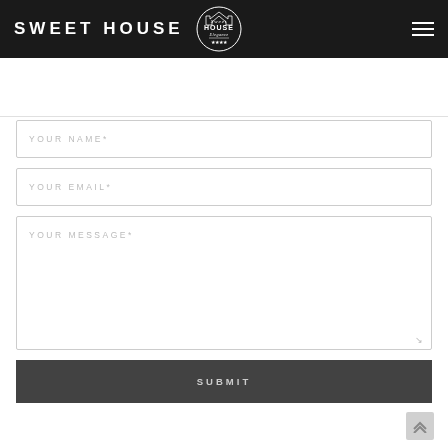SWEET HOUSE
YOUR NAME*
YOUR EMAIL*
YOUR MESSAGE*
SUBMIT